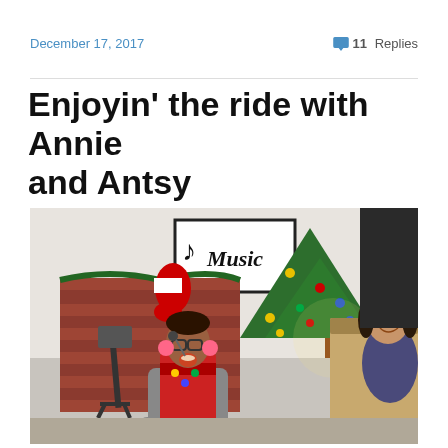December 17, 2017   💬 11 Replies
Enjoyin' the ride with Annie and Antsy
[Figure (photo): A child in a wheelchair with glasses and a Christmas sweater looking upward with mouth open, seemingly singing or laughing, next to a woman with dark hair seated at a piano. Background shows a Christmas tree with lights and ornaments, a brick-patterned Christmas decoration, a Music sign on the wall, and a music stand with sheet music.]